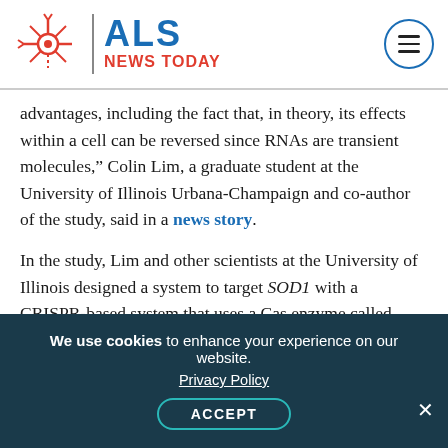ALS NEWS TODAY
advantages, including the fact that, in theory, its effects within a cell can be reversed since RNAs are transient molecules," Colin Lim, a graduate student at the University of Illinois Urbana-Champaign and co-author of the study, said in a news story.
In the study, Lim and other scientists at the University of Illinois designed a system to target SOD1 with a CRISPR-based system that uses a Cas enzyme called Cas13 (specifically a version called RfxCas13d), which targets RNA instead of DNA.
“Because Cas13 enzymes just target RNA, they also
We use cookies to enhance your experience on our website. Privacy Policy ACCEPT